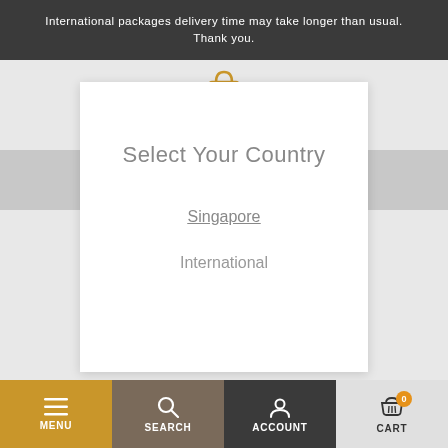International packages delivery time may take longer than usual. Thank you.
Select Your Country
Singapore
International
MENU | SEARCH | ACCOUNT | CART